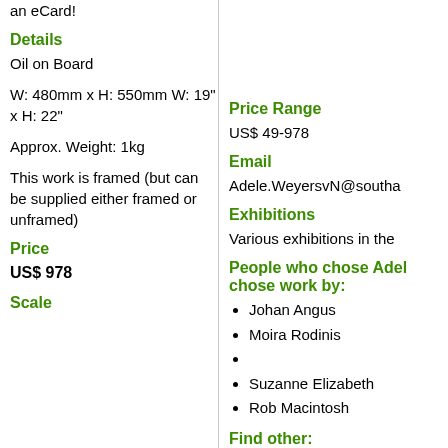an eCard!
Details
Oil on Board
W: 480mm x H: 550mm W: 19" x H: 22"
Approx. Weight: 1kg
This work is framed (but can be supplied either framed or unframed)
Price
US$ 978
Scale
Price Range
US$ 49-978
Email
Adele.WeyersvN@southa
Exhibitions
Various exhibitions in the
People who chose Adel chose work by:
Johan Angus
Moira Rodinis
Suzanne Elizabeth
Rob Macintosh
Find other:
Works > Artists > A
Works > Category
Works > Subject >
Wildlife Art